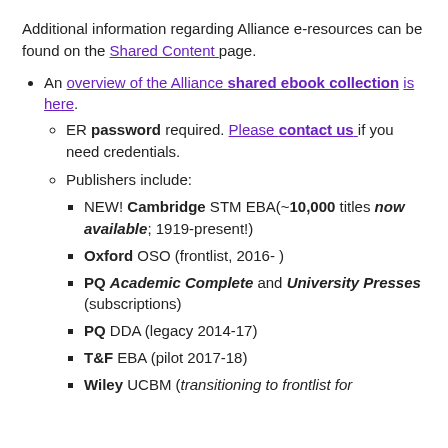Additional information regarding Alliance e-resources can be found on the Shared Content page.
An overview of the Alliance shared ebook collection is here.
ER password required. Please contact us if you need credentials.
Publishers include:
NEW! Cambridge STM EBA(~10,000 titles now available; 1919-present!)
Oxford OSO (frontlist, 2016- )
PQ Academic Complete and University Presses (subscriptions)
PQ DDA (legacy 2014-17)
T&F EBA (pilot 2017-18)
Wiley UCBM (transitioning to frontlist for